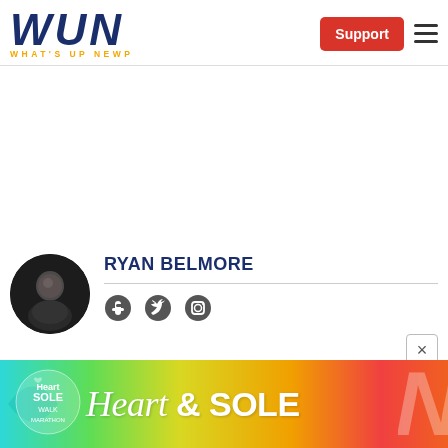[Figure (logo): WUN - What's Up Newp logo with blue bold italic WUN text and yellow tagline WHAT'S UP NEWP]
[Figure (logo): Red Support button and hamburger menu icon in header]
[Figure (photo): Circular avatar photo of Ryan Belmore, a person wearing dark clothing against a dark background]
RYAN BELMORE
[Figure (infographic): Social media icons: Facebook, Twitter, Instagram]
[Figure (infographic): Heart & Sole banner advertisement with colorful gradient background (teal to red) showing Heart & Sole Walk logo and text]